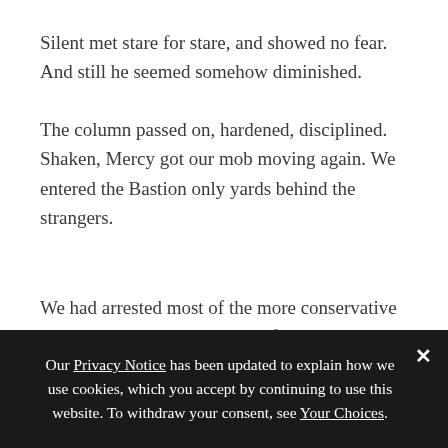Silent met stare for stare, and showed no fear. And still he seemed somehow diminished.
The column passed on, hardened, disciplined. Shaken, Mercy got our mob moving again. We entered the Bastion only yards behind the strangers.
We had arrested most of the more conservative Blue leadership. When word of the raid spread, the volatile types decided to flex their muscles. They sparked something monstrous.
Our Privacy Notice has been updated to explain how we use cookies, which you accept by continuing to use this website. To withdraw your consent, see Your Choices.